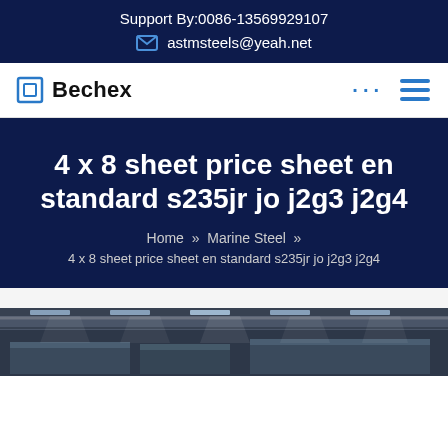Support By:0086-13569929107
astmsteels@yeah.net
Bechex
4 x 8 sheet price sheet en standard s235jr jo j2g3 j2g4
Home » Marine Steel »
4 x 8 sheet price sheet en standard s235jr jo j2g3 j2g4
[Figure (photo): Warehouse interior with steel sheets, partial view showing roof structure with skylights]